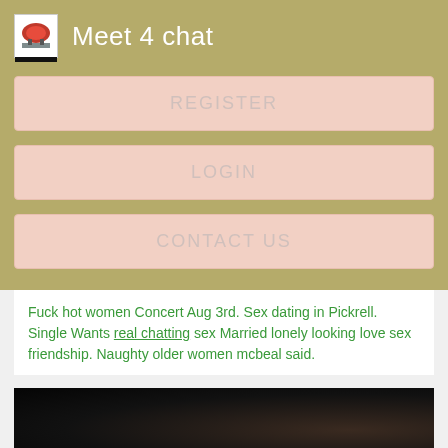Meet 4 chat
REGISTER
LOGIN
CONTACT US
Fuck hot women Concert Aug 3rd. Sex dating in Pickrell. Single Wants real chatting sex Married lonely looking love sex friendship. Naughty older women mcbeal said.
[Figure (photo): Dark photograph, partially visible, showing a dimly lit scene with a face barely visible on the right side]